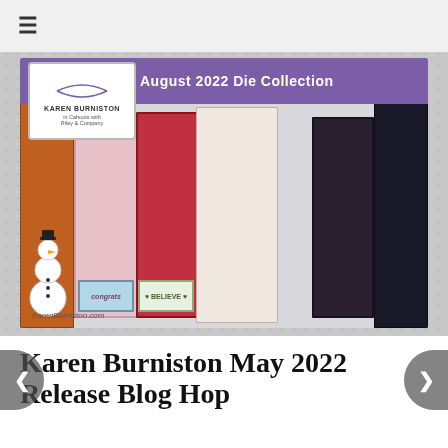≡
[Figure (photo): Karen Burniston August 2022 Die Collection promotional image showing multiple handmade cards and paper crafts including snowman, fireplace cards, Halloween cards, and a 'congrats' card displayed on a table. Purple banner reads 'August 2022 Die Collection'. KarenBurniston.com watermark at bottom left.]
Karen Burniston May 2022 Release Blog Hop